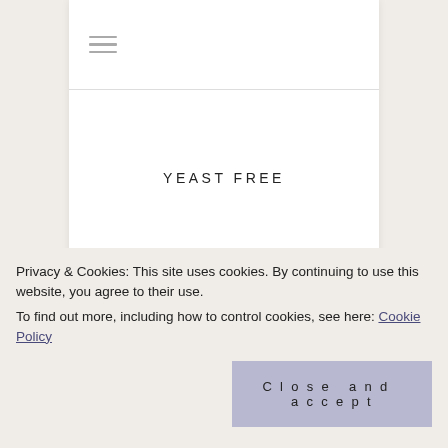☰ (hamburger menu icon)
YEAST FREE
SOYA FREE
Privacy & Cookies: This site uses cookies. By continuing to use this website, you agree to their use.
To find out more, including how to control cookies, see here: Cookie Policy
Close and accept